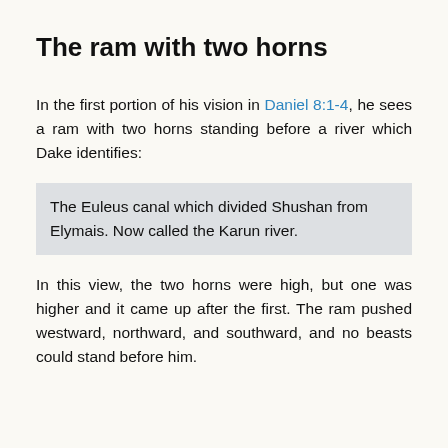The ram with two horns
In the first portion of his vision in Daniel 8:1-4, he sees a ram with two horns standing before a river which Dake identifies:
The Euleus canal which divided Shushan from Elymais. Now called the Karun river.
In this view, the two horns were high, but one was higher and it came up after the first. The ram pushed westward, northward, and southward, and no beasts could stand before him.